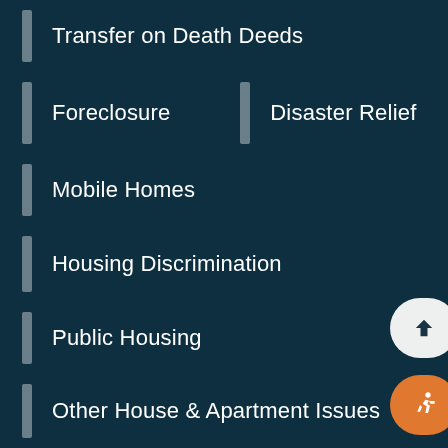Transfer on Death Deeds
Foreclosure
Disaster Relief
Mobile Homes
Housing Discrimination
Public Housing
Other House & Apartment Issues
Health & Benefits